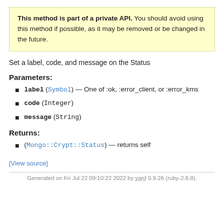This method is part of a private API. You should avoid using this method if possible, as it may be removed or be changed in the future.
Set a label, code, and message on the Status
Parameters:
label (Symbol) — One of :ok, :error_client, or :error_kms
code (Integer)
message (String)
Returns:
(Mongo::Crypt::Status) — returns self
[View source]
Generated on Fri Jul 22 09:10:22 2022 by yard 0.9.26 (ruby-2.6.8).